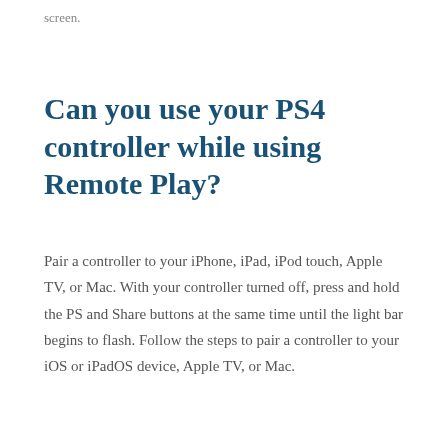screen.
Can you use your PS4 controller while using Remote Play?
Pair a controller to your iPhone, iPad, iPod touch, Apple TV, or Mac. With your controller turned off, press and hold the PS and Share buttons at the same time until the light bar begins to flash. Follow the steps to pair a controller to your iOS or iPadOS device, Apple TV, or Mac.